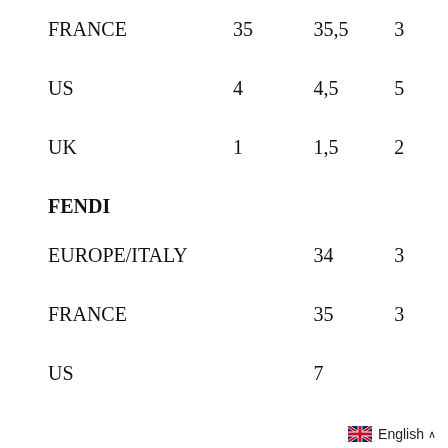|  |  |  |  |
| --- | --- | --- | --- |
| FRANCE | 35 | 35,5 | 3 |
| US | 4 | 4,5 | 5 |
| UK | 1 | 1,5 | 2 |
FENDI
|  |  |  |  |
| --- | --- | --- | --- |
| EUROPE/ITALY |  | 34 | 3 |
| FRANCE |  | 35 | 3 |
| US |  | 7 |  |
English